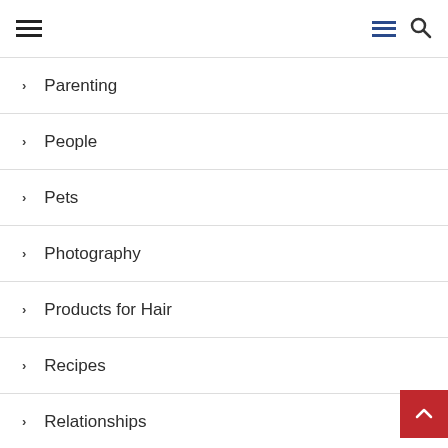Navigation menu header with hamburger icons and search
Parenting
People
Pets
Photography
Products for Hair
Recipes
Relationships
Religion
Royals